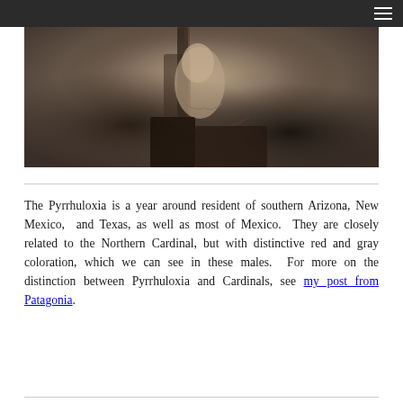[Figure (photo): Close-up photograph of a Pyrrhuloxia bird perched on dark weathered wood, showing its distinctive gray and reddish coloration, with a blurred natural background.]
The Pyrrhuloxia is a year around resident of southern Arizona, New Mexico, and Texas, as well as most of Mexico. They are closely related to the Northern Cardinal, but with distinctive red and gray coloration, which we can see in these males. For more on the distinction between Pyrrhuloxia and Cardinals, see my post from Patagonia.